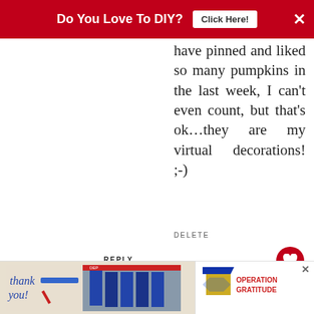Do You Love To DIY? Click Here!
have pinned and liked so many pumpkins in the last week, I can't even count, but that's ok…they are my virtual decorations! ;-)
DELETE
REPLY
Jaybird
AUGUST 28, 2015 AT 12:25 PM
Well, since it is 100° here, is VERY timely!!! and I for one
[Figure (screenshot): Whats Next box showing Summer Fireplace... article thumbnail]
[Figure (photo): Operation Gratitude advertisement showing firefighters with thank you message]